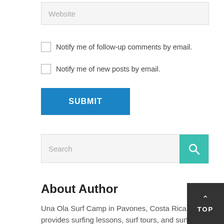Website
Notify me of follow-up comments by email.
Notify me of new posts by email.
SUBMIT
Search
About Author
Una Ola Surf Camp in Pavones, Costa Rica provides surfing lessons, surf tours, and surf